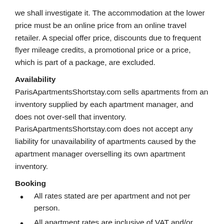we shall investigate it. The accommodation at the lower price must be an online price from an online travel retailer. A special offer price, discounts due to frequent flyer mileage credits, a promotional price or a price, which is part of a package, are excluded.
Availability
ParisApartmentsShortstay.com sells apartments from an inventory supplied by each apartment manager, and does not over-sell that inventory. ParisApartmentsShortstay.com does not accept any liability for unavailability of apartments caused by the apartment manager overselling its own apartment inventory.
Booking
All rates stated are per apartment and not per person.
All apartment rates are inclusive of VAT and/or tourist tax.
All apartment managers require that there is at least one